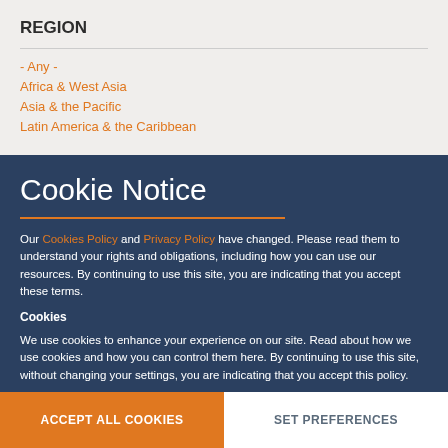REGION
- Any -
Africa & West Asia
Asia & the Pacific
Latin America & the Caribbean
Cookie Notice
Our Cookies Policy and Privacy Policy have changed. Please read them to understand your rights and obligations, including how you can use our resources. By continuing to use this site, you are indicating that you accept these terms.
Cookies
We use cookies to enhance your experience on our site. Read about how we use cookies and how you can control them here. By continuing to use this site, without changing your settings, you are indicating that you accept this policy.
ACCEPT ALL COOKIES
SET PREFERENCES